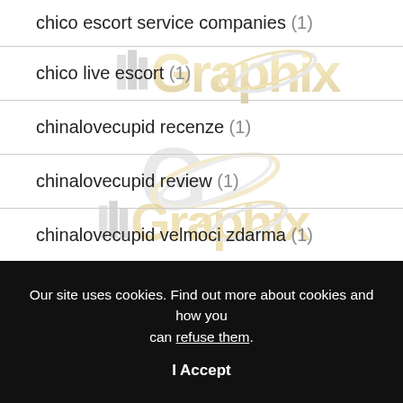chico escort service companies (1)
chico live escort (1)
[Figure (logo): IllGraphix watermark logo with gold and silver lettering, repeated multiple times as background watermark across the page]
chinalovecupid recenze (1)
chinalovecupid review (1)
chinalovecupid velmoci zdarma (1)
chinese dating review (1)
Our site uses cookies. Find out more about cookies and how you can refuse them.
I Accept